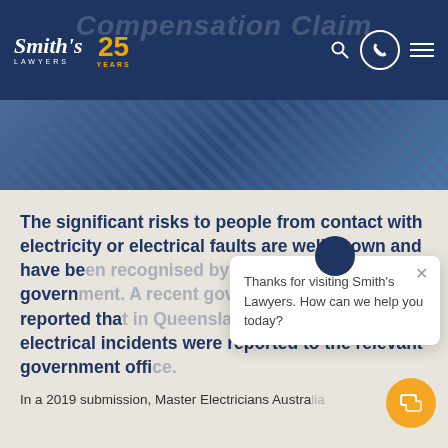[Figure (screenshot): Smith's Lawyers website header with logo showing 'Smith's Lawyers 25 Years', search icon, phone icon, and hamburger menu on dark navy background]
[Figure (photo): Person wearing a blue plaid shirt, cropped hero image]
The significant risks to people from contact with electricity or electrical faults are well known and have been recognised by the Queensland government. A recent government review reported that in Queensland, about 400 serious electrical incidents were reported to the relevant government office.
In a 2019 submission, Master Electricians Australia estimated that around 15...
[Figure (screenshot): Chat popup widget saying 'Thanks for visiting Smith's Lawyers. How can we help you today?' with a close button and chat avatar]